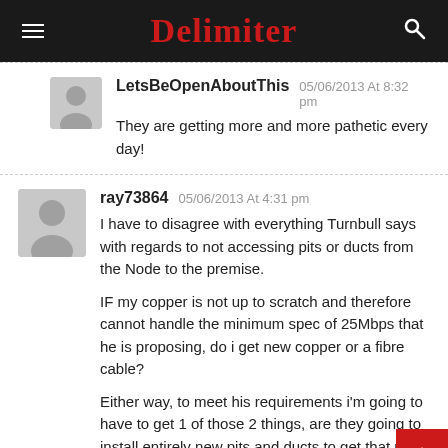Delimiter
LetsBeOpenAboutThis 05/06/2013 At 8:32 pm
They are getting more and more pathetic every day!
ray73864 05/06/2013 At 4:31 pm
I have to disagree with everything Turnbull says with regards to not accessing pits or ducts from the Node to the premise.

IF my copper is not up to scratch and therefore cannot handle the minimum spec of 25Mbps that he is proposing, do i get new copper or a fibre cable?

Either way, to meet his requirements i'm going to have to get 1 of those 2 things, are they going to install entirely new pits and ducts to get that new cable from the node...